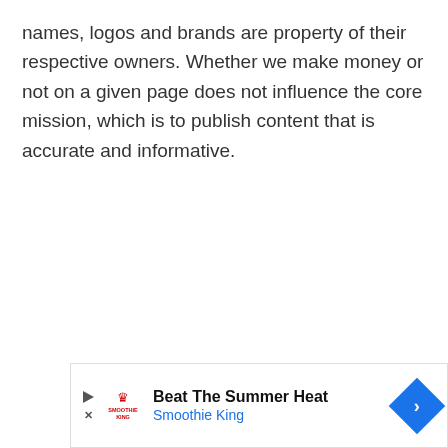names, logos and brands are property of their respective owners. Whether we make money or not on a given page does not influence the core mission, which is to publish content that is accurate and informative.
[Figure (infographic): Advertisement banner for Smoothie King: 'Beat The Summer Heat' with Smoothie King logo, play button, close button, and a blue diamond-shaped arrow icon on the right.]